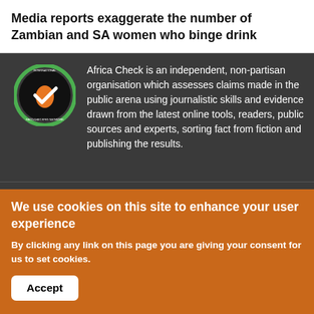Media reports exaggerate the number of Zambian and SA women who binge drink
[Figure (logo): Africa Check International Fact-Checking Network circular logo with checkmark and Africa map in orange/green/black colors]
Africa Check is an independent, non-partisan organisation which assesses claims made in the public arena using journalistic skills and evidence drawn from the latest online tools, readers, public sources and experts, sorting fact from fiction and publishing the results.
Browse by category
HEALTH
KENYA
COVID-19
NIGERIA
We use cookies on this site to enhance your user experience
By clicking any link on this page you are giving your consent for us to set cookies.
Accept